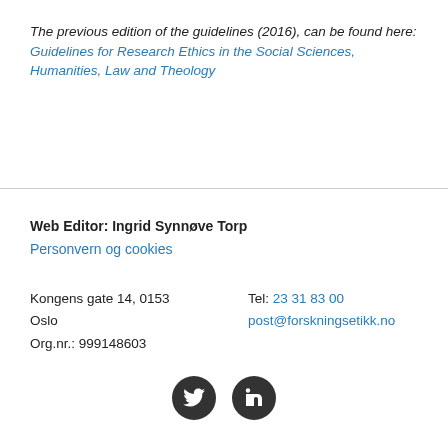The previous edition of the guidelines (2016), can be found here: Guidelines for Research Ethics in the Social Sciences, Humanities, Law and Theology
Web Editor: Ingrid Synnøve Torp
Personvern og cookies
Kongens gate 14, 0153
Oslo
Org.nr.: 999148603
Tel: 23 31 83 00
post@forskningsetikk.no
[Figure (infographic): Two circular social media icons: Twitter (bird icon) and LinkedIn (in icon), dark grey circles on white background]